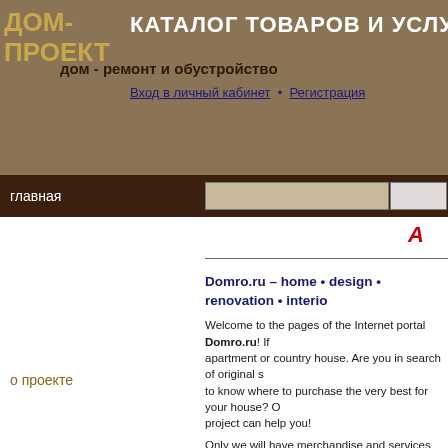ДОМ-ПРОЕКТ | КАТАЛОГ ТОВАРОВ И УСЛУГ | дом - ремонт и обустройство | Вход в личный кабинет • Регистрация
главная
Domro.ru – home • design • renovation • interior
Welcome to the pages of the Internet portal Domro.ru! If you are planning to remodel your apartment or country house. Are you in search of original solutions for your interior? Or want to know where to purchase the very best for your house? Our Dom-Proekt (House-Project) project can help you!
Only we will have merchandise and services catalogues of companies working in this area, user advice and reviews collected on one website, and much more...

Wherever we are, however far fate brings us, we always return home. Not only putting on a house robe, but also taking off all the «social masks». The place where we can restore energy and find strength for the body and soul?
Lucky is he who can say: «My home is my castle». Confidence in your own home is possible, for sure, if the owner initially puts his soul and individuality into building and arranging it.
A human's appearance is the mirror of his inner qualities, a home interior which surrounds us is not only a question of convenience and functionality, but
о проекте